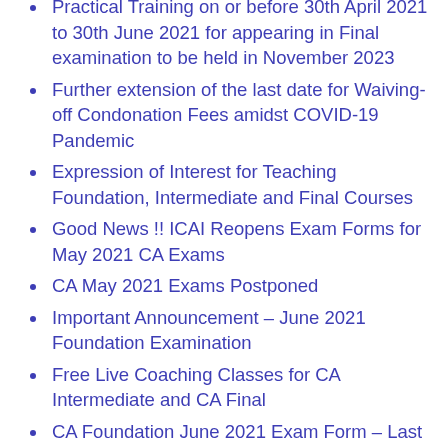Practical Training on or before 30th April 2021 to 30th June 2021 for appearing in Final examination to be held in November 2023
Further extension of the last date for Waiving-off Condonation Fees amidst COVID-19 Pandemic
Expression of Interest for Teaching Foundation, Intermediate and Final Courses
Good News !! ICAI Reopens Exam Forms for May 2021 CA Exams
CA May 2021 Exams Postponed
Important Announcement – June 2021 Foundation Examination
Free Live Coaching Classes for CA Intermediate and CA Final
CA Foundation June 2021 Exam Form – Last Date to Apply, FAQs, Guidance Note, Format of…